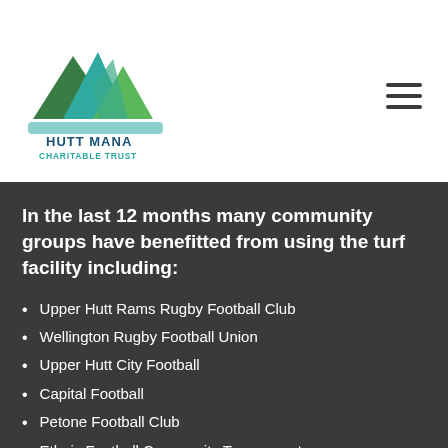[Figure (logo): Hutt Mana Charitable Trust logo with mountain/hill graphic in green and teal tones, text reads HUTT MANA CHARITABLE TRUST]
In the last 12 months many community groups have benefitted from using the turf facility including:
Upper Hutt Rams Rugby Football Club
Wellington Rugby Football Union
Upper Hutt City Football
Capital Football
Petone Football Club
Ethnic Football Community Tournament
St Patrick's College